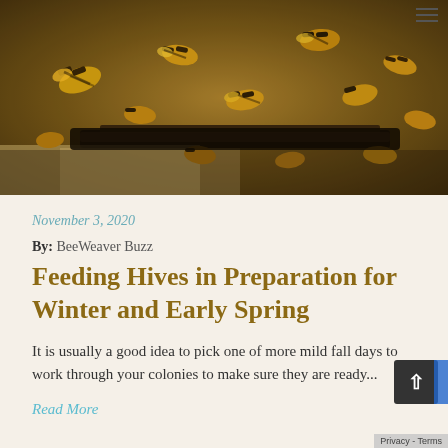[Figure (photo): Close-up photograph of honeybees clustered on a beehive frame, showing many bees in detail with a dark hive structure visible]
November 3, 2020
By: BeeWeaver Buzz
Feeding Hives in Preparation for Winter and Early Spring
It is usually a good idea to pick one of more mild fall days to work through your colonies to make sure they are ready...
Read More